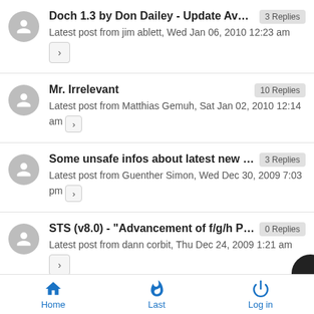Doch 1.3 by Don Dailey - Update Available · 3 Replies · Latest post from jim ablett, Wed Jan 06, 2010 12:23 am
Mr. Irrelevant · 10 Replies · Latest post from Matthias Gemuh, Sat Jan 02, 2010 12:14 am
Some unsafe infos about latest new engi... · 3 Replies · Latest post from Guenther Simon, Wed Dec 30, 2009 7:03 pm
STS (v8.0) - "Advancement of f/g/h Pawn... · 0 Replies · Latest post from dann corbit, Thu Dec 24, 2009 1:21 am
Home  Last  Log in